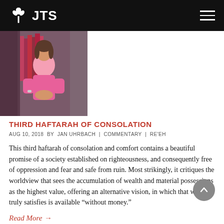JTS
[Figure (photo): Person wearing a pink top seated in front of a bookshelf]
THIRD HAFTARAH OF CONSOLATION
AUG 10, 2018 BY JAN UHRBACH | COMMENTARY | RE'EH
This third haftarah of consolation and comfort contains a beautiful promise of a society established on righteousness, and consequently free of oppression and fear and safe from ruin. Most strikingly, it critiques the worldview that sees the accumulation of wealth and material possessions as the highest value, offering an alternative vision, in which that which truly satisfies is available “without money.”
Read More →